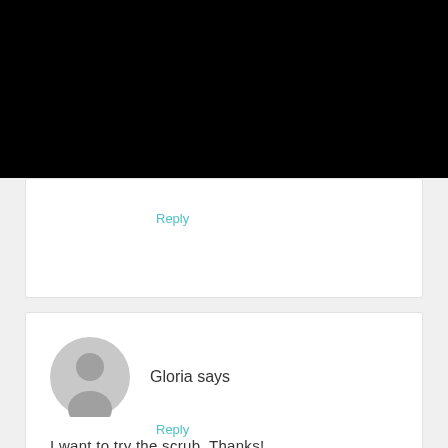[Figure (other): Black rectangle at top of page, likely a video or image placeholder]
Reply
Gloria says
[Figure (other): Grey circular avatar/user icon placeholder]
I want to try the scrub. Thanks!
Reply